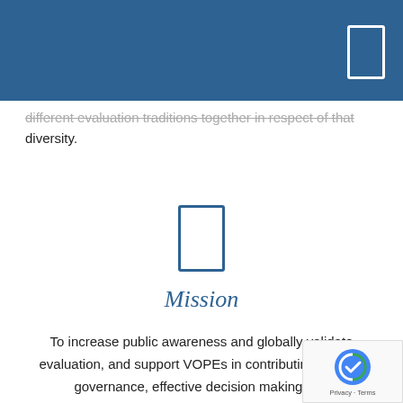different evaluation traditions together in respect of that diversity.
[Figure (illustration): Small rectangular icon (like a bookmark or book) outlined in blue, centered on the page]
Mission
To increase public awareness and globally validate evaluation, and support VOPEs in contributing to good governance, effective decision making and strengthening the role of civil society.